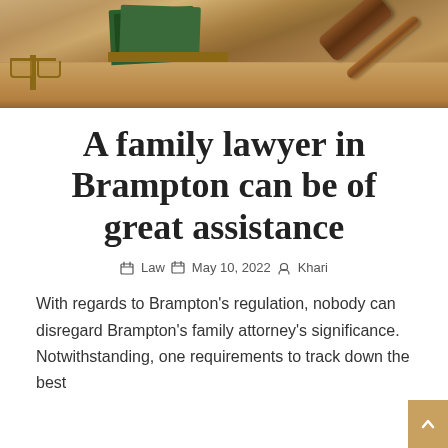[Figure (photo): Photo of legal items on a desk: judge's gavel, stack of books, scales of justice, wooden surface background]
A family lawyer in Brampton can be of great assistance
Law · May 10, 2022 · Khari
With regards to Brampton's regulation, nobody can disregard Brampton's family attorney's significance. Notwithstanding, one requirements to track down the best